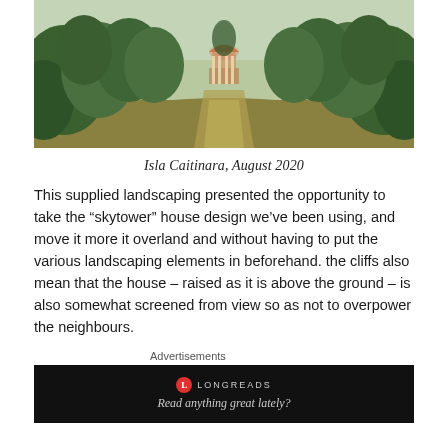[Figure (photo): Landscape photo showing a grassy path leading through trees toward a domed gazebo or pavilion structure in the distance, with shrubs and trees on either side under a pale sky.]
Isla Caitinara, August 2020
This supplied landscaping presented the opportunity to take the “skytower” house design we’ve been using, and move it more it overland and without having to put the various landscaping elements in beforehand. the cliffs also mean that the house – raised as it is above the ground – is also somewhat screened from view so as not to overpower the neighbours.
Advertisements
[Figure (screenshot): Dark advertisement banner for Longreads with text “Read anything great lately?”]